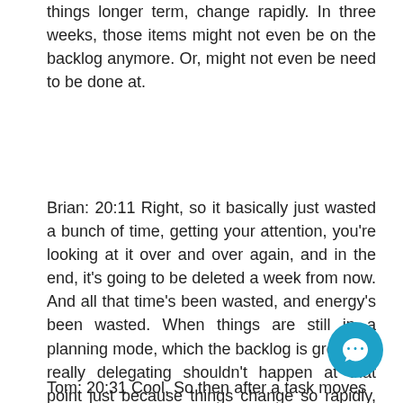things longer term, change rapidly. In three weeks, those items might not even be on the backlog anymore. Or, might not even be need to be done at.
Brian: 20:11 Right, so it basically just wasted a bunch of time, getting your attention, you're looking at it over and over again, and in the end, it's going to be deleted a week from now. And all that time's been wasted, and energy's been wasted. When things are still in a planning mode, which the backlog is great for, really delegating shouldn't happen at that point just because things change so rapidly, like you said.
Tom: 20:31 Cool. So then after a task moves